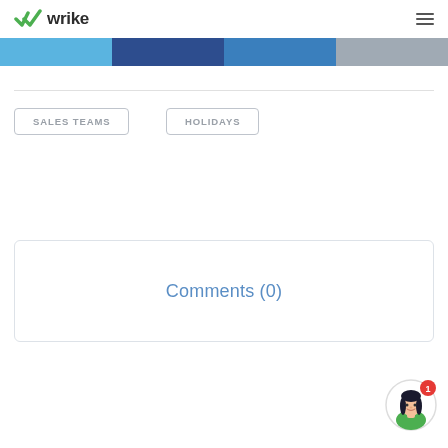wrike
[Figure (screenshot): Four colored navigation tabs: light blue, dark navy, medium blue, and gray]
SALES TEAMS
HOLIDAYS
Comments (0)
[Figure (illustration): Chat support avatar - female character with dark hair and green shirt, with red notification badge showing 1]